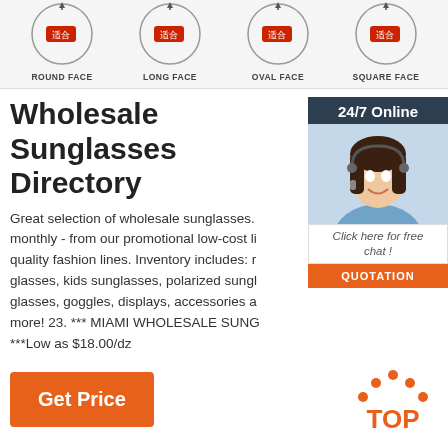[Figure (illustration): Four face shape icons (Round Face, Long Face, Oval Face, Square Face) with circular outlines and red Chinese character labels, arranged horizontally]
Wholesale Sunglasses Directory
Great selection of wholesale sunglasses. monthly - from our promotional low-cost li quality fashion lines. Inventory includes: r glasses, kids sunglasses, polarized sungl glasses, goggles, displays, accessories a more! 23. *** MIAMI WHOLESALE SUNG ***Low as $18.00/dz
[Figure (photo): Customer service agent woman with headset smiling, with 24/7 Online banner, Click here for free chat text, and QUOTATION button]
[Figure (logo): TOP logo with orange dots forming an arch above the word TOP]
Get Price